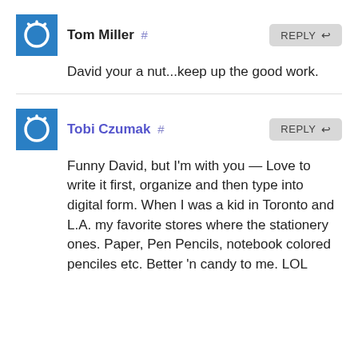Tom Miller #
REPLY
David your a nut...keep up the good work.
Tobi Czumak #
REPLY
Funny David, but I'm with you — Love to write it first, organize and then type into digital form. When I was a kid in Toronto and L.A. my favorite stores where the stationery ones. Paper, Pen Pencils, notebook colored penciles etc. Better 'n candy to me. LOL